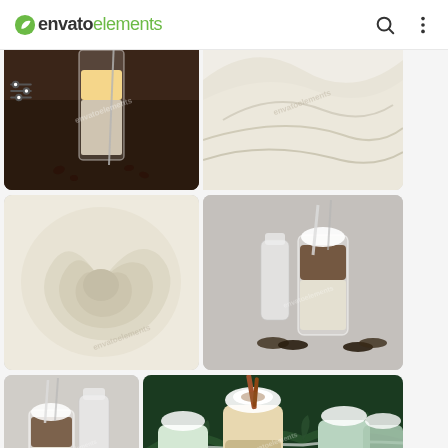envato elements
[Figure (screenshot): Envato Elements website screenshot showing a grid of food and beverage stock photos including coffee drinks, whipped cream textures, Oreo milkshakes, and cinnamon holiday drinks]
[Figure (photo): Dalgona coffee in a tall glass with spoon on dark background with coffee beans]
[Figure (photo): Close-up of white whipped cream texture]
[Figure (photo): Close-up swirl of white cream/frosting from above]
[Figure (photo): Oreo cookie milkshake in a glass jar with cookies and milk bottle on white surface]
[Figure (photo): Oreo cookie milkshake in a glass jar with milk bottle - grey background]
[Figure (photo): Holiday drinks with whipped cream and cinnamon sticks surrounded by snowy pine branches]